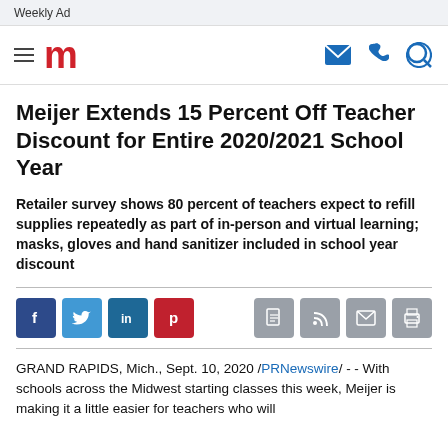Weekly Ad
[Figure (logo): Meijer navigation bar with hamburger menu, red 'm' logo, and blue icons for email, phone, and search]
Meijer Extends 15 Percent Off Teacher Discount for Entire 2020/2021 School Year
Retailer survey shows 80 percent of teachers expect to refill supplies repeatedly as part of in-person and virtual learning; masks, gloves and hand sanitizer included in school year discount
[Figure (infographic): Social share buttons: Facebook, Twitter, LinkedIn, Pinterest, and action buttons: PDF, RSS, email, print]
GRAND RAPIDS, Mich., Sept. 10, 2020 /PRNewswire/ - - With schools across the Midwest starting classes this week, Meijer is making it a little easier for teachers who will